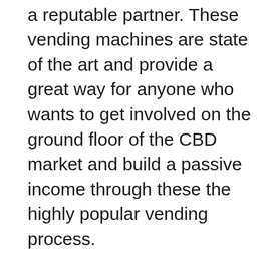a reputable partner. These vending machines are state of the art and provide a great way for anyone who wants to get involved on the ground floor of the CBD market and build a passive income through these the highly popular vending process.
This is a profitable turnkey business opportunity with very affordable wholesale CBD pricing. What you need to do is install the vending machine in your business are, and let the money rollin...